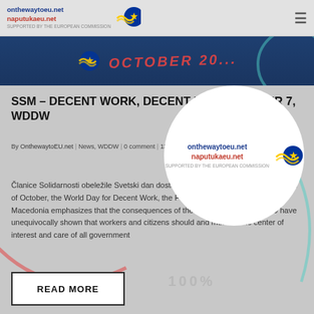onthewaytoeu.net naputukaeu.net SUPPORTED BY THE EUROPEAN COMMISSION
[Figure (screenshot): Dark blue banner with red italic text 'OCTOBER 20...']
SSM – DECENT WORK, DECENT LIFE, OCTOBER 7, WDDW
By OnthewaytoEU.net | News, WDDW | 0 comment | 13 October, 2020 | ♥ 0
[Figure (logo): onthewaytoeu.net naputukaeu.net logo inside white circle overlay]
Članice Solidarnosti obeležile Svetski dan dostojanstvenog rada Celebrating the 7th of October, the World Day for Decent Work, the Federation of Trade Unions of Macedonia emphasizes that the consequences of the pandemic with Covid-19 have unequivocally shown that workers and citizens should and must be the center of interest and care of all government
100%
READ MORE